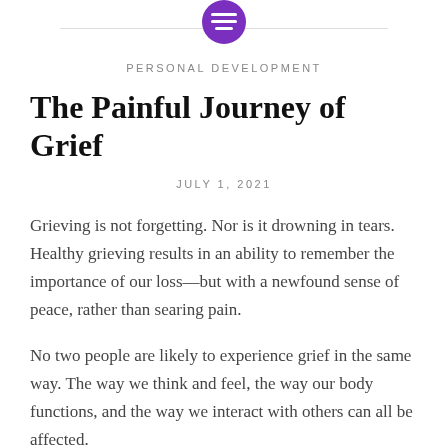[Figure (logo): Purple circle logo with three horizontal lines (menu icon) at top center of page]
PERSONAL DEVELOPMENT
The Painful Journey of Grief
JULY 1, 2021
Grieving is not forgetting. Nor is it drowning in tears. Healthy grieving results in an ability to remember the importance of our loss—but with a newfound sense of peace, rather than searing pain.
No two people are likely to experience grief in the same way. The way we think and feel, the way our body functions, and the way we interact with others can all be affected.